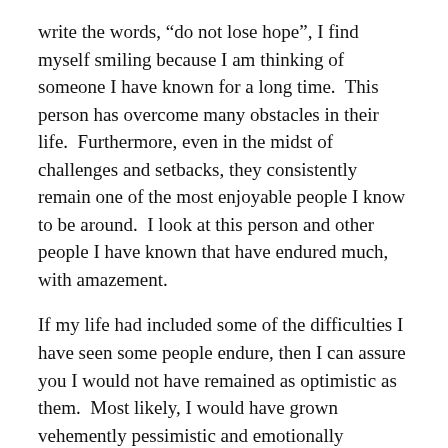write the words, “do not lose hope”, I find myself smiling because I am thinking of someone I have known for a long time.  This person has overcome many obstacles in their life.  Furthermore, even in the midst of challenges and setbacks, they consistently remain one of the most enjoyable people I know to be around.  I look at this person and other people I have known that have endured much, with amazement.
If my life had included some of the difficulties I have seen some people endure, then I can assure you I would not have remained as optimistic as them.  Most likely, I would have grown vehemently pessimistic and emotionally hardened.
Living with, coping with and treating a life-altering or life-threatening disease for an extended time can sometimes make hope a rare commodity; making hope